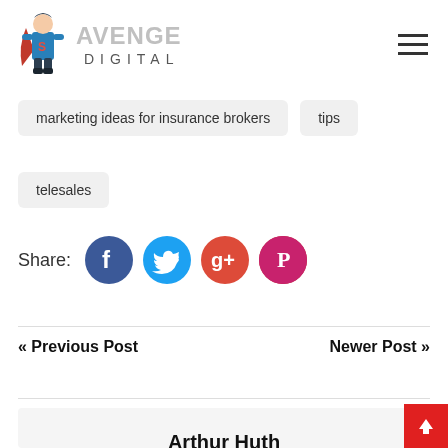[Figure (logo): Avenge Digital logo with superhero mascot and text]
marketing ideas for insurance brokers
tips
telesales
Share:
[Figure (infographic): Social share icons: Facebook, Twitter, Google+, Pinterest]
<< Previous Post
Newer Post >>
Arthur Huth